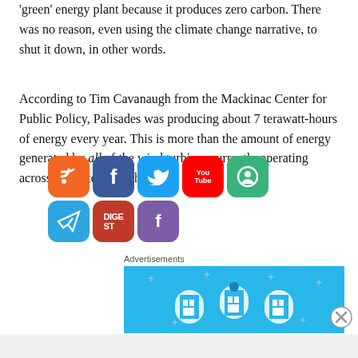'green' energy plant because it produces zero carbon. There was no reason, even using the climate change narrative, to shut it down, in other words.
According to Tim Cavanaugh from the Mackinac Center for Public Policy, Palisades was producing about 7 terawatt-hours of energy every year. This is more than the amount of energy generated by all of the wind turbines currently operating across the state of Michigan.
[Figure (infographic): Social media sharing icons overlay: RSS (orange), Facebook (blue), Twitter (light blue), YouTube (red), Goodreads/green circle, Telegram (blue), red icon, Flipboard (purple)]
Advertisements
[Figure (illustration): Advertisement banner with light blue background showing icons of buildings/infrastructure]
Advertisements